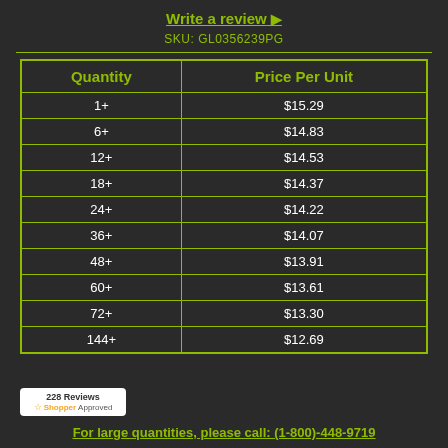Write a review ▶
SKU: GL0356239PG
| Quantity | Price Per Unit |
| --- | --- |
| 1+ | $15.29 |
| 6+ | $14.83 |
| 12+ | $14.53 |
| 18+ | $14.37 |
| 24+ | $14.22 |
| 36+ | $14.07 |
| 48+ | $13.91 |
| 60+ | $13.61 |
| 72+ | $13.30 |
| 144+ | $12.69 |
For large quantities, please call: (1-800)-448-9719